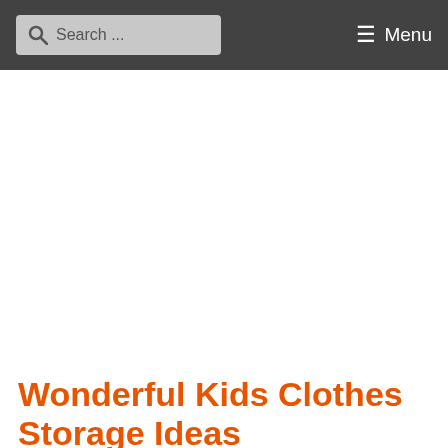Search ... Menu
Wonderful Kids Clothes Storage Ideas